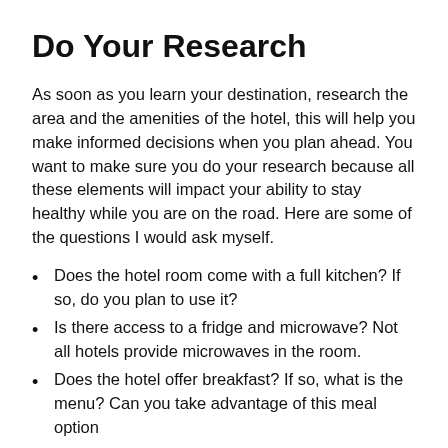Do Your Research
As soon as you learn your destination, research the area and the amenities of the hotel, this will help you make informed decisions when you plan ahead. You want to make sure you do your research because all these elements will impact your ability to stay healthy while you are on the road. Here are some of the questions I would ask myself.
Does the hotel room come with a full kitchen? If so, do you plan to use it?
Is there access to a fridge and microwave? Not all hotels provide microwaves in the room.
Does the hotel offer breakfast? If so, what is the menu? Can you take advantage of this meal option
What restaurants are near the hotel?